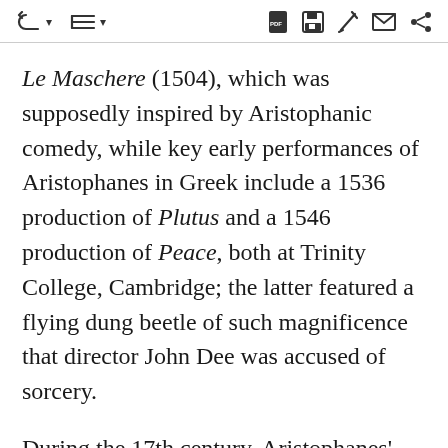[toolbar icons: undo, list, PDF, save, edit, message, share]
Le Maschere (1504), which was supposedly inspired by Aristophanic comedy, while key early performances of Aristophanes in Greek include a 1536 production of Plutus and a 1546 production of Peace, both at Trinity College, Cambridge; the latter featured a flying dung beetle of such magnificence that director John Dee was accused of sorcery.
During the 17th century, Aristophanes' plays gained a more prominent profile through the increased circulation of printed texts in Greek and in both Latin and vernacular translation. Aristophanes' Plutus emerged as a clear favourite during the period, with notable receptions including Anne Le Fèvre's (later Mme Dacier) French-language